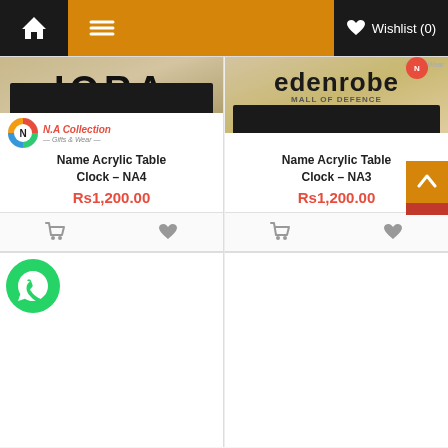Home | Menu | Wishlist (0)
[Figure (photo): Name Acrylic Table Clock NA4 product photo showing IQRA lettering with clock on dark wooden base, held by hands]
[Figure (logo): N.A Collection Gifts & Wear circular logo with colorful N letter]
Name Acrylic Table Clock – NA4
Rs1,200.00
[Figure (photo): Name Acrylic Table Clock NA3 product photo showing edenrobe lettering with clock on dark base, Mall of Defence text]
Name Acrylic Table Clock – NA3
Rs1,200.00
[Figure (photo): WhatsApp button icon green circle with phone handset]
[Figure (other): Back to top orange button with upward caret arrow]